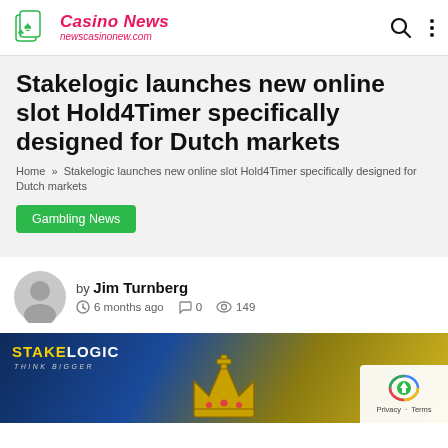Casino News — newscasinonew.com
Stakelogic launches new online slot Hold4Timer specifically designed for Dutch markets
Home » Stakelogic launches new online slot Hold4Timer specifically designed for Dutch markets
Gambling News
by Jim Turnberg  6 months ago  0  149
[Figure (screenshot): Bottom portion showing Stakelogic branded banner with crown graphic and privacy/terms overlay in bottom right]